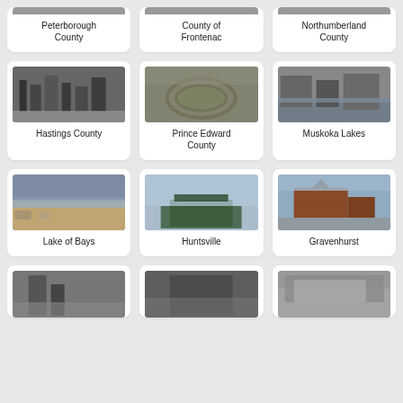[Figure (photo): Partial card top row - Peterborough County photo (cropped)]
Peterborough County
[Figure (photo): Partial card top row - County of Frontenac photo (cropped)]
County of Frontenac
[Figure (photo): Partial card top row - Northumberland County photo (cropped)]
Northumberland County
[Figure (photo): Black and white street scene photo - Hastings County]
Hastings County
[Figure (photo): Aerial view of racetrack - Prince Edward County]
Prince Edward County
[Figure (photo): Black and white waterfront buildings - Muskoka Lakes]
Muskoka Lakes
[Figure (photo): Color beach and boats scene - Lake of Bays]
Lake of Bays
[Figure (photo): Color dock and lake scene - Huntsville]
Huntsville
[Figure (photo): Color photo of brick church building - Gravenhurst]
Gravenhurst
[Figure (photo): Black and white photo - bottom row card 1 (partial)]
[Figure (photo): Black and white photo - bottom row card 2 (partial)]
[Figure (photo): Black and white photo - bottom row card 3 (partial)]